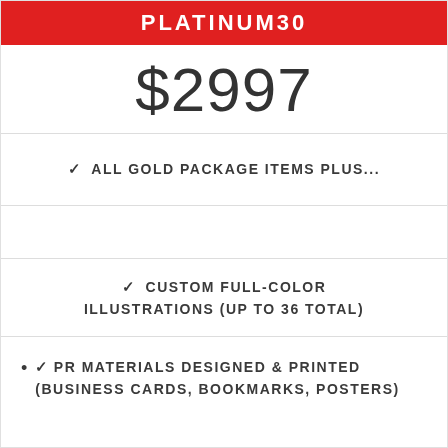PLATINUM30
$2997
✓ ALL GOLD PACKAGE ITEMS PLUS...
✓ CUSTOM FULL-COLOR ILLUSTRATIONS (UP TO 36 TOTAL)
• ✓ PR MATERIALS DESIGNED & PRINTED (BUSINESS CARDS, BOOKMARKS, POSTERS)